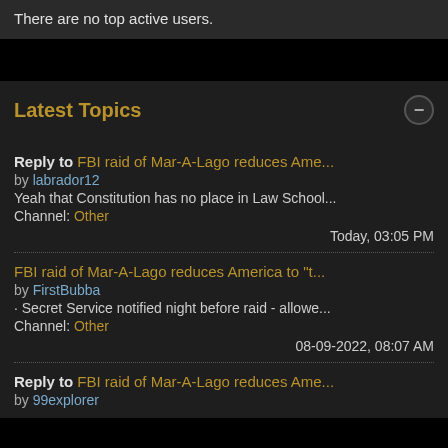There are no top active users.
Latest Topics
Reply to FBI raid of Mar-A-Lago reduces Ame... by labrador12 Yeah that Constitution has no place in Law School... Channel: Other — Today, 03:05 PM
FBI raid of Mar-A-Lago reduces America to "t... by FirstBubba • Secret Service notified night before raid - allowe... Channel: Other — 08-09-2022, 08:07 AM
Reply to FBI raid of Mar-A-Lago reduces Ame... by 99explorer